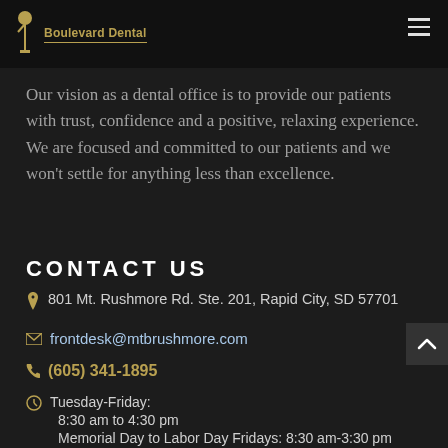Boulevard Dental
Our vision as a dental office is to provide our patients with trust, confidence and a positive, relaxing experience. We are focused and committed to our patients and we won't settle for anything less than excellence.
CONTACT US
801 Mt. Rushmore Rd. Ste. 201, Rapid City, SD 57701
frontdesk@mtbrushmore.com
(605) 341-1895
Tuesday-Friday:
8:30 am to 4:30 pm
Memorial Day to Labor Day Fridays: 8:30 am-3:30 pm